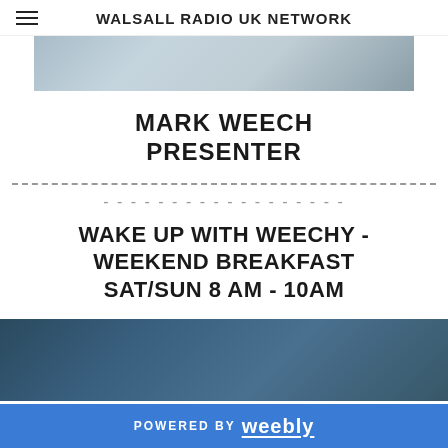WALSALL RADIO UK NETWORK
[Figure (photo): Partial photo of a presenter, cropped at top of page]
MARK WEECH PRESENTER
WAKE UP WITH WEECHY - WEEKEND BREAKFAST SAT/SUN 8 AM - 10AM
[Figure (photo): Partial photo at bottom of page]
POWERED BY weebly